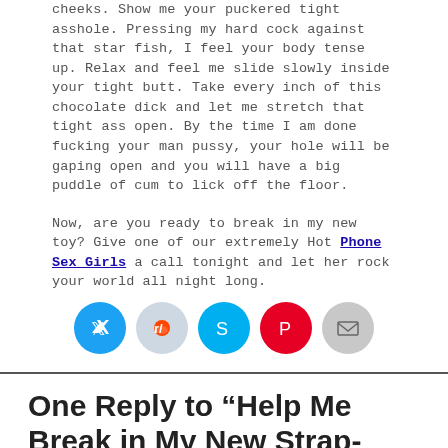cheeks. Show me your puckered tight asshole. Pressing my hard cock against that star fish, I feel your body tense up. Relax and feel me slide slowly inside your tight butt. Take every inch of this chocolate dick and let me stretch that tight ass open. By the time I am done fucking your man pussy, your hole will be gaping open and you will have a big puddle of cum to lick off the floor.
Now, are you ready to break in my new toy? Give one of our extremely Hot Phone Sex Girls a call tonight and let her rock your world all night long.
[Figure (infographic): Row of five circular social share buttons: Twitter (blue), Reddit (light blue-grey), Skype (blue), Pinterest (red), Email (grey)]
One Reply to “Help Me Break in My New Strap-on*”
[Figure (photo): User avatar area: left portion grey placeholder silhouette, right portion black background]